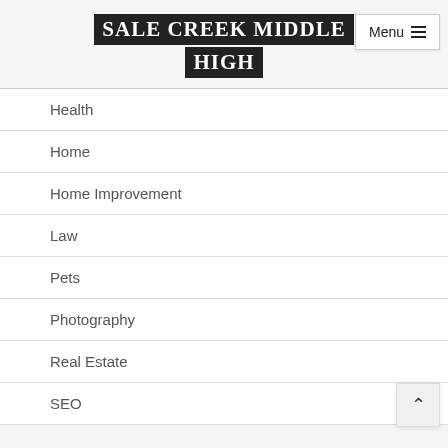SALE CREEK MIDDLE HIGH
Health
Home
Home Improvement
Law
Pets
Photography
Real Estate
SEO